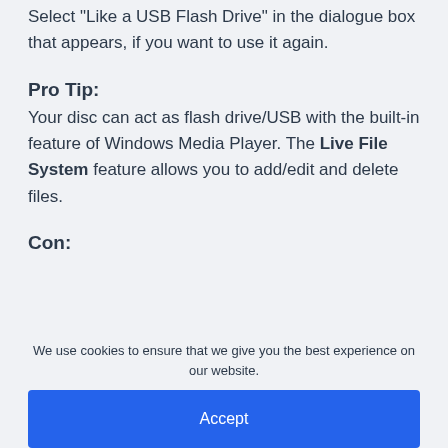Select "Like a USB Flash Drive" in the dialogue box that appears, if you want to use it again.
Pro Tip:
Your disc can act as flash drive/USB with the built-in feature of Windows Media Player. The Live File System feature allows you to add/edit and delete files.
Con:
We use cookies to ensure that we give you the best experience on our website.
Accept